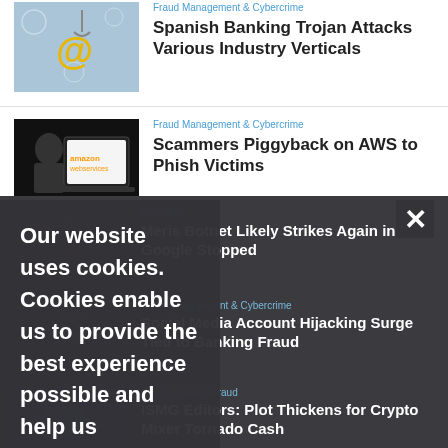Fraud Management & Cybercrime
Spanish Banking Trojan Attacks Various Industry Verticals
Fraud Management & Cybercrime
Scammers Piggyback on AWS to Phish Victims
Protection
Meris Botnet Likely Strikes Again in Google Stopped
Fraud Management & Cybercrime
Social Media Account Hijacking Surge Tied to Banking Fraud
Cryptocurrency Fraud
ISMG Editors: Plot Thickens for Crypto Mixer Tornado Cash
Our website uses cookies. Cookies enable us to provide the best experience possible and help us understand how visitors use our website. By browsing bankinfosecurity.com, you agree to our use of cookies.